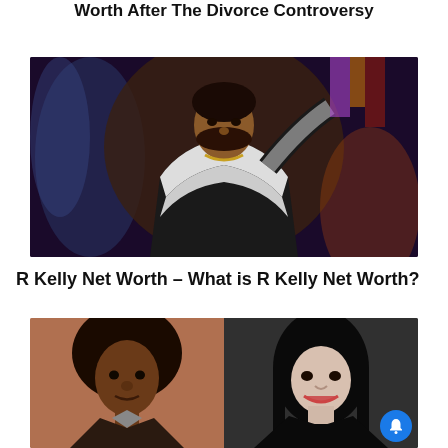Johnny Depp Net Worth: How Much Is The Actor Worth After The Divorce Controversy
[Figure (photo): R Kelly performing on stage wearing a black and white fur jacket, holding a microphone, with stage lights in the background]
R Kelly Net Worth – What is R Kelly Net Worth?
[Figure (photo): Side-by-side comparison photos of Michael Jackson: left shows young Michael Jackson with afro hair against brown background; right shows older Michael Jackson with long black hair and lighter skin wearing dark clothing]